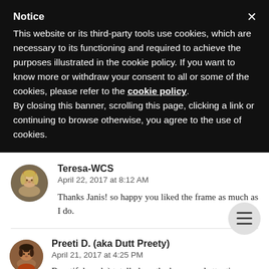Notice
This website or its third-party tools use cookies, which are necessary to its functioning and required to achieve the purposes illustrated in the cookie policy. If you want to know more or withdraw your consent to all or some of the cookies, please refer to the cookie policy. By closing this banner, scrolling this page, clicking a link or continuing to browse otherwise, you agree to the use of cookies.
Teresa-WCS
April 22, 2017 at 8:12 AM
Thanks Janis! so happy you liked the frame as much as I do.
Preeti D. (aka Dutt Preety)
April 21, 2017 at 4:25 PM
Beautiful card :) totally love the layers and attention